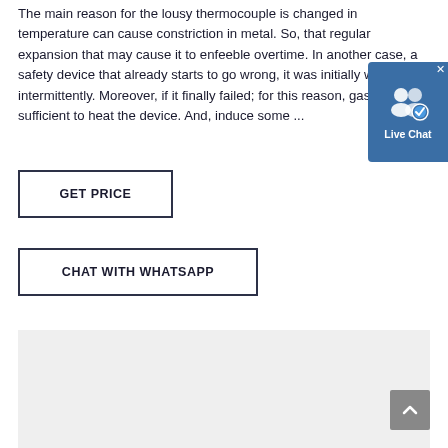The main reason for the lousy thermocouple is changed in temperature can cause constriction in metal. So, that regular expansion that may cause it to enfeeble overtime. In another case, a safety device that already starts to go wrong, it was initially working intermittently. Moreover, if it finally failed; for this reason, gas was sufficient to heat the device. And, induce some ...
[Figure (screenshot): Live Chat widget button with two person icons and a blue checkmark badge, blue background, white text reading 'Live Chat', with an X close button.]
GET PRICE
CHAT WITH WHATSAPP
[Figure (other): Light gray rectangular placeholder box at the bottom of the page.]
[Figure (other): Gray scroll-to-top button with upward chevron arrow, positioned bottom right.]